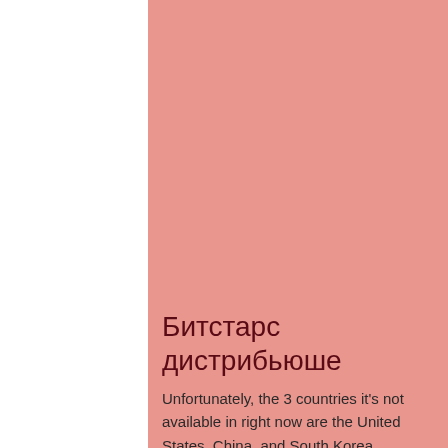Битстарс дистрибьюше
Unfortunately, the 3 countries it's not available in right now are the United States, China, and South Korea. However, they're coming soon, and the rest of the world has immediate access to taking the battle to